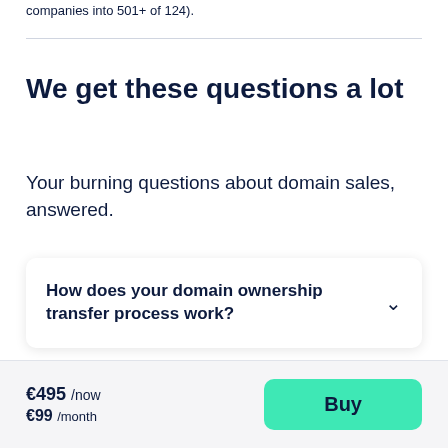companies into 501+ of 124).
We get these questions a lot
Your burning questions about domain sales, answered.
How does your domain ownership transfer process work?
€495 /now €99 /month
Buy